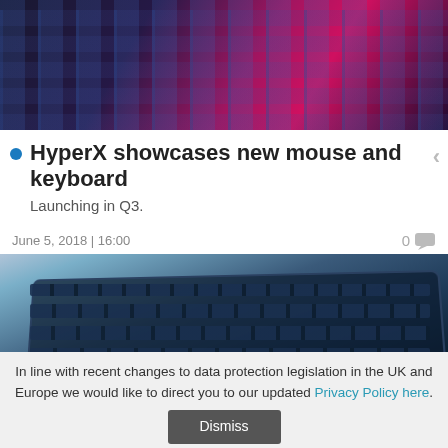[Figure (photo): Top portion of a gaming keyboard with blue/purple LED backlighting and pink/magenta light streaks on dark background]
HyperX showcases new mouse and keyboard
Launching in Q3.
June 5, 2018 | 16:00
[Figure (photo): HyperX mechanical gaming keyboard photographed from a three-quarter angle against a white background, showing dark blue/black keycaps]
In line with recent changes to data protection legislation in the UK and Europe we would like to direct you to our updated Privacy Policy here.
Dismiss